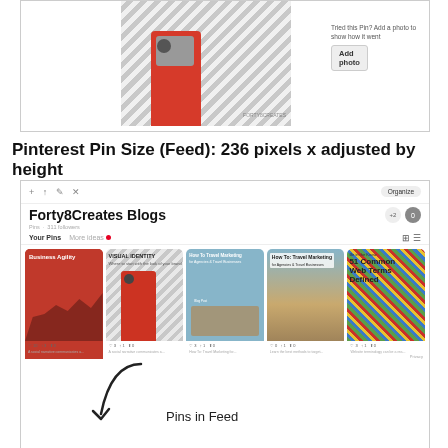[Figure (screenshot): Top portion of a Pinterest pin detail page showing a telescope image with diagonal stripe background, and an 'Add photo' button with text 'Tried this Pin? Add a photo to show how it went']
Pinterest Pin Size (Feed): 236 pixels x adjusted by height
[Figure (screenshot): Screenshot of a Pinterest board 'Forty8Creates Blogs' showing pins in the feed view, including Business Agility, Visual Identity, How To Travel Marketing, and 51 Common Web Terms Defined pins, with a 'Pins in Feed' annotation arrow pointing to the pin grid]